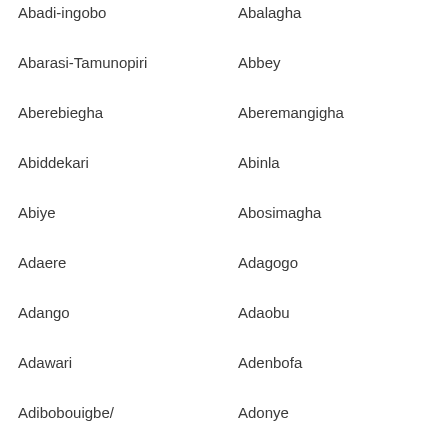Abadi-ingobo
Abalagha
Abarasi-Tamunopiri
Abbey
Aberebiegha
Aberemangigha
Abiddekari
Abinla
Abiye
Abosimagha
Adaere
Adagogo
Adango
Adaobu
Adawari
Adenbofa
Adibobouigbe/
Adonye